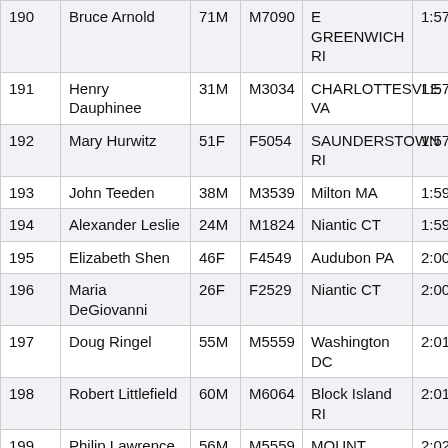| 190 | Bruce Arnold | 71M | M7090 | E GREENWICH RI | 1:57:21 |
| 191 | Henry Dauphinee | 31M | M3034 | CHARLOTTESVLE VA | 1:57:40 |
| 192 | Mary Hurwitz | 51F | F5054 | SAUNDERSTOWN RI | 1:57:45 |
| 193 | John Teeden | 38M | M3539 | Milton MA | 1:59:13 |
| 194 | Alexander Leslie | 24M | M1824 | Niantic CT | 1:59:25 |
| 195 | Elizabeth Shen | 46F | F4549 | Audubon PA | 2:00:26 |
| 196 | Maria DeGiovanni | 26F | F2529 | Niantic CT | 2:00:47 |
| 197 | Doug Ringel | 55M | M5559 | Washington DC | 2:01:33 |
| 198 | Robert Littlefield | 60M | M6064 | Block Island RI | 2:01:49 |
| 199 | Philip Lawrence | 56M | M5559 | MOUNT KISCO NY | 2:02:13 |
| 200 | Christine Hoonan | 54F | F5054 | JAMESTOWN RI | 2:02:39 |